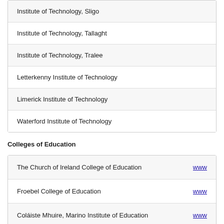| Institute of Technology, Sligo |
| Institute of Technology, Tallaght |
| Institute of Technology, Tralee |
| Letterkenny Institute of Technology |
| Limerick Institute of Technology |
| Waterford Institute of Technology |
Colleges of Education
| The Church of Ireland College of Education | www... |
| Froebel College of Education | www... |
| Coláiste Mhuire, Marino Institute of Education | www... |